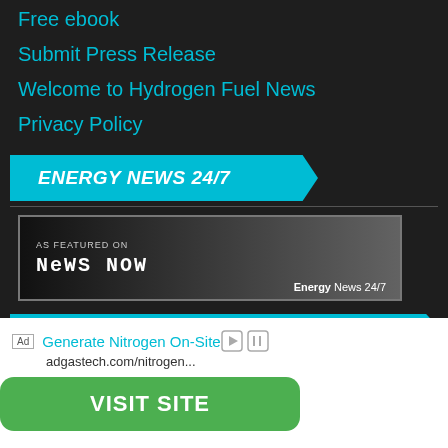Free ebook
Submit Press Release
Welcome to Hydrogen Fuel News
Privacy Policy
ENERGY NEWS 24/7
[Figure (screenshot): News Now badge image showing 'AS FEATURED ON NEWS NOW' with 'Energy News 24/7' label at bottom right]
ABOUT HYDROGEN FUEL NEWS
Ad Generate Nitrogen On-Site adgastech.com/nitrogen...
VISIT SITE